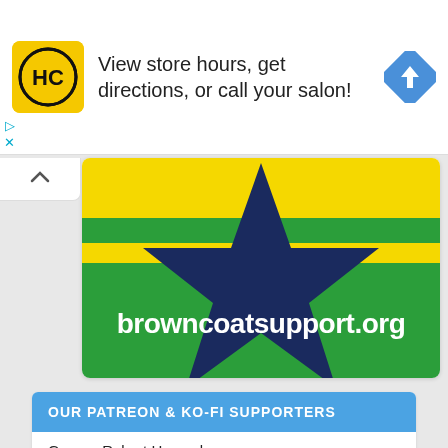[Figure (screenshot): Advertisement banner for a hair care salon brand with yellow circular logo marked HC and text: View store hours, get directions, or call your salon! with a blue navigation arrow icon on right.]
[Figure (illustration): browncoatsupport.org banner image showing green and yellow stripes with a large dark navy star shape in center and website URL browncoatsupport.org in white bold text on green background.]
OUR PATREON & KO-FI SUPPORTERS
George Robert Howard
Sheri L. Benoun
Tiffany N. Rutledge
Sidney Fraser